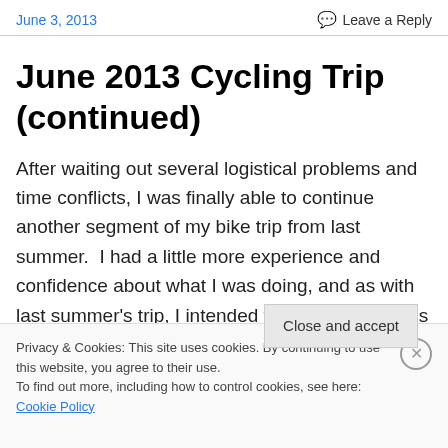June 3, 2013   Leave a Reply
June 2013 Cycling Trip (continued)
After waiting out several logistical problems and time conflicts, I was finally able to continue another segment of my bike trip from last summer.  I had a little more experience and confidence about what I was doing, and as with last summer's trip, I intended to continue towards
Privacy & Cookies: This site uses cookies. By continuing to use this website, you agree to their use.
To find out more, including how to control cookies, see here: Cookie Policy